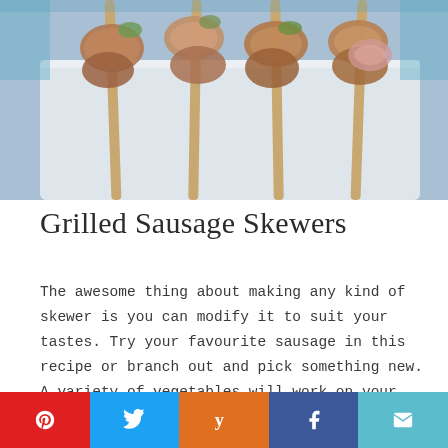[Figure (photo): Photo of grilled sausage skewers on a white tray, viewed from above, with wooden skewer sticks visible]
Grilled Sausage Skewers
The awesome thing about making any kind of skewer is you can modify it to suit your tastes. Try your favourite sausage in this recipe or branch out and pick something new. A variety of vegetables will work on your skewer as long as they will hold up to grilling!
[Figure (infographic): Social sharing buttons: Pinterest (red), Twitter (blue), Yummly (orange), Facebook (dark blue), Email (teal)]